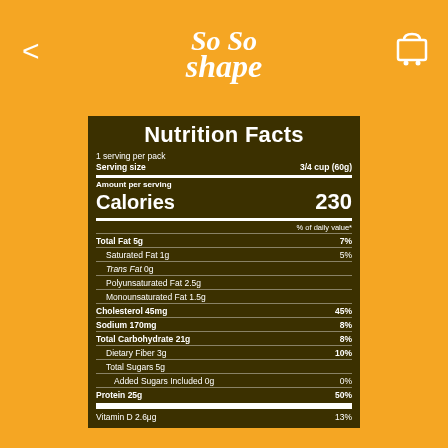[Figure (logo): So So Shape logo in white italic script on orange background]
| 1 serving per pack |  |
| Serving size | 3/4 cup (60g) |
| Amount per serving |  |
| Calories | 230 |
| % of daily value* |  |
| Total Fat 5g | 7% |
| Saturated Fat 1g | 5% |
| Trans Fat 0g |  |
| Polyunsaturated Fat 2.5g |  |
| Monounsaturated Fat 1.5g |  |
| Cholesterol 45mg | 45% |
| Sodium 170mg | 8% |
| Total Carbohydrate 21g | 8% |
| Dietary Fiber 3g | 10% |
| Total Sugars 5g |  |
| Added Sugars Included 0g | 0% |
| Protein 25g | 50% |
| Vitamin D 2.6μg | 13% |